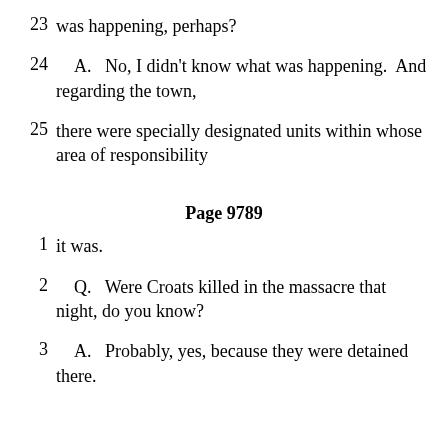23   was happening, perhaps?
24      A.   No, I didn't know what was happening.  And regarding the town,
25    there were specially designated units within whose area of responsibility
Page 9789
1    it was.
2      Q.   Were Croats killed in the massacre that night, do you know?
3      A.   Probably, yes, because they were detained there.